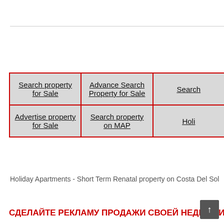| Search property for Sale | Advance Search Property for Sale | Search |
| Advertise property for Sale | Search property on MAP | Holi |
Holiday Apartments - Short Term Renatal property on Costa Del Sol
СДЕЛАЙТЕ РЕКЛАМУ ПРОДАЖИ СВОЕЙ НЕДВИЖИМОСТИ НА